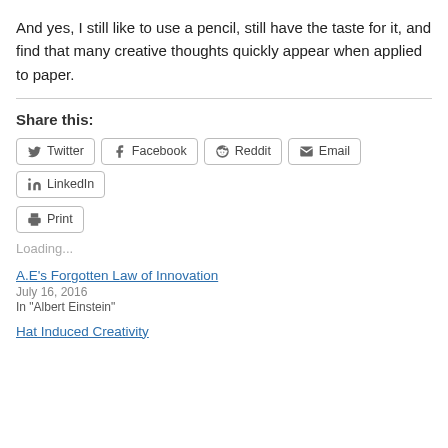And yes, I still like to use a pencil, still have the taste for it, and find that many creative thoughts quickly appear when applied to paper.
Share this:
Twitter Facebook Reddit Email LinkedIn Print
Loading...
A.E's Forgotten Law of Innovation
July 16, 2016
In "Albert Einstein"
Hat Induced Creativity